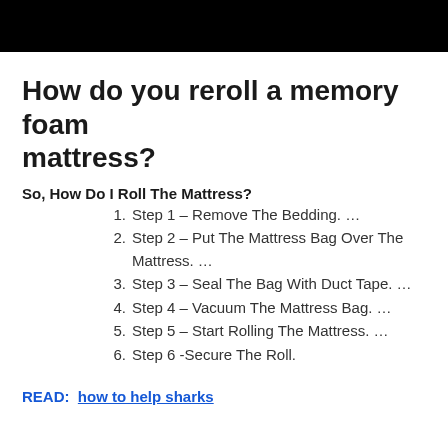[Figure (other): Black rectangular bar spanning the top of the page]
How do you reroll a memory foam mattress?
So, How Do I Roll The Mattress?
Step 1 – Remove The Bedding. …
Step 2 – Put The Mattress Bag Over The Mattress. …
Step 3 – Seal The Bag With Duct Tape. …
Step 4 – Vacuum The Mattress Bag. …
Step 5 – Start Rolling The Mattress. …
Step 6 -Secure The Roll.
READ:  how to help sharks